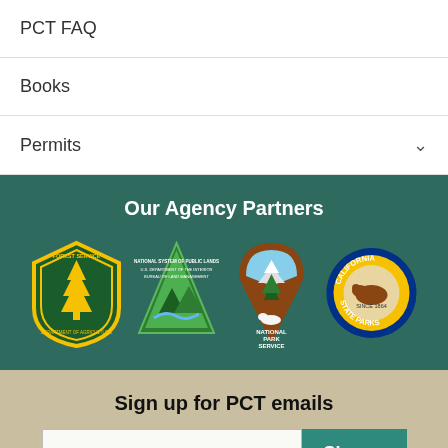PCT FAQ
Books
Permits
Our Agency Partners
[Figure (logo): Four agency partner logos: USDA Forest Service, Bureau of Land Management, National Park Service, California State Parks]
Sign up for PCT emails
myemail@domain.com... [email input field] Signup [button]